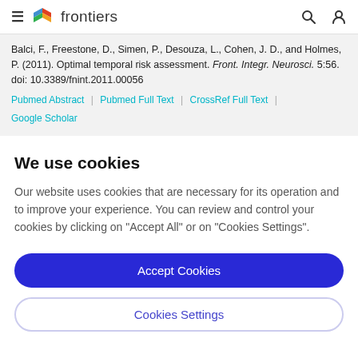frontiers
Balci, F., Freestone, D., Simen, P., Desouza, L., Cohen, J. D., and Holmes, P. (2011). Optimal temporal risk assessment. Front. Integr. Neurosci. 5:56. doi: 10.3389/fnint.2011.00056
Pubmed Abstract | Pubmed Full Text | CrossRef Full Text | Google Scholar
We use cookies
Our website uses cookies that are necessary for its operation and to improve your experience. You can review and control your cookies by clicking on "Accept All" or on "Cookies Settings".
Accept Cookies
Cookies Settings